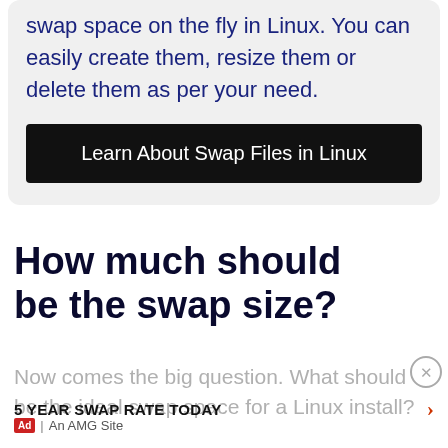swap space on the fly in Linux. You can easily create them, resize them or delete them as per your need.
Learn About Swap Files in Linux
How much should be the swap size?
Now comes the big question. What should be the ideal swap space for a Linux install?
5 YEAR SWAP RATE TODAY
Ad | An AMG Site